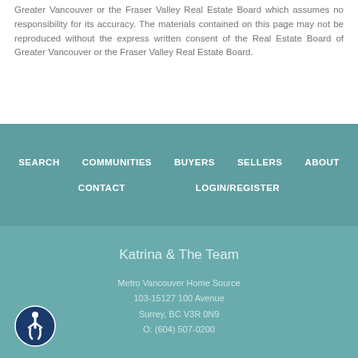Greater Vancouver or the Fraser Valley Real Estate Board which assumes no responsibility for its accuracy. The materials contained on this page may not be reproduced without the express written consent of the Real Estate Board of Greater Vancouver or the Fraser Valley Real Estate Board.
SEARCH  COMMUNITIES  BUYERS  SELLERS  ABOUT  CONTACT  LOGIN/REGISTER
Katrina & The Team
Metro Vancouver Home Source
103-15127 100 Avenue
Surrey, BC V3R 0N9
O: (604) 507-0200